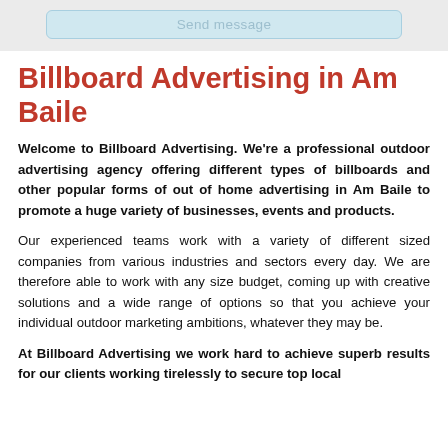[Figure (screenshot): Send message button area with light blue background and rounded border]
Billboard Advertising in Am Baile
Welcome to Billboard Advertising. We're a professional outdoor advertising agency offering different types of billboards and other popular forms of out of home advertising in Am Baile to promote a huge variety of businesses, events and products.
Our experienced teams work with a variety of different sized companies from various industries and sectors every day. We are therefore able to work with any size budget, coming up with creative solutions and a wide range of options so that you achieve your individual outdoor marketing ambitions, whatever they may be.
At Billboard Advertising we work hard to achieve superb results for our clients working tirelessly to secure top local